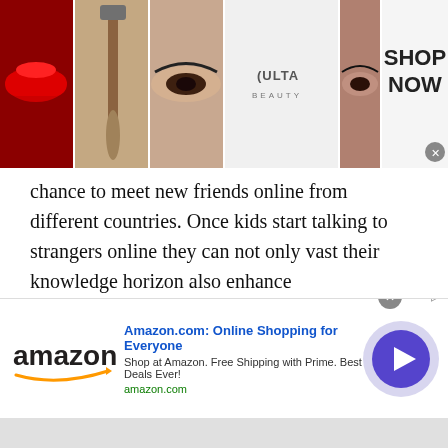[Figure (screenshot): Top advertisement banner showing makeup/beauty images and Ulta Beauty logo with 'SHOP NOW' text on the right side]
chance to meet new friends online from different countries. Once kids start talking to strangers online they can not only vast their knowledge horizon also enhance communication skills and boost self-confidence.
In short, TWS Omegle kids chat is a safe, secure and convenient platform for all kids. Parents can surely trust TWS and make their kid's life secure and comfortable.
[Figure (screenshot): Amazon.com advertisement banner at the bottom with Amazon logo, title 'Amazon.com: Online Shopping for Everyone', subtitle 'Shop at Amazon. Free Shipping with Prime. Best Deals Ever!', amazon.com URL, and a circular arrow button]